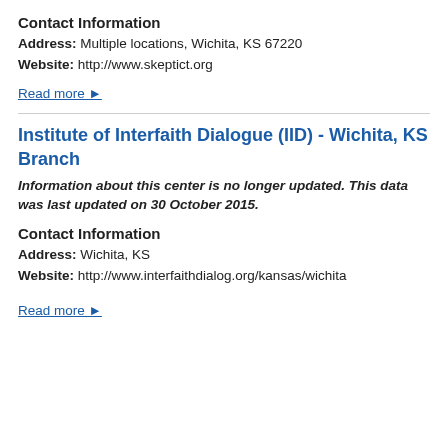Contact Information
Address: Multiple locations, Wichita, KS 67220
Website: http://www.skeptict.org
Read more ▶
Institute of Interfaith Dialogue (IID) - Wichita, KS Branch
Information about this center is no longer updated. This data was last updated on 30 October 2015.
Contact Information
Address: Wichita, KS
Website: http://www.interfaithdialog.org/kansas/wichita
Read more ▶